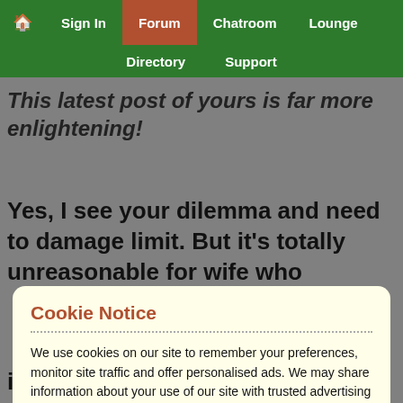🏠 Sign In  Forum  Chatroom  Lounge  Directory  Support
This latest post of yours is far more enlightening!
Yes, I see your dilemma and need to damage limit. But it's totally unreasonable for wife who
Cookie Notice
We use cookies on our site to remember your preferences, monitor site traffic and offer personalised ads. We may share information about your use of our site with trusted advertising and analytics partners. By clicking 'Accept and continue' you consent to our use of cookies in accordance with your preferences which can be reviewed / updated at any time via our Privacy Policy.
Accept and continue